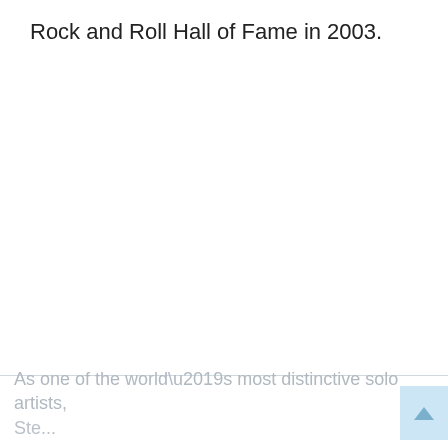Rock and Roll Hall of Fame in 2003.
As one of the world’s most distinctive solo artists,